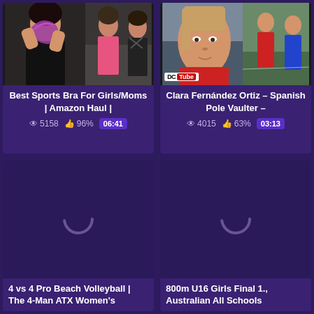[Figure (screenshot): Video thumbnail for sports bra amazon haul showing woman holding purple resistance bands with fitness background]
Best Sports Bra For Girls/Moms | Amazon Haul |
👁 5158  👍 96%  06:41
[Figure (screenshot): Video thumbnail for Clara Fernandez Ortiz Spanish pole vaulter with DCTube badge]
Clara Fernández Ortiz – Spanish Pole Vaulter –
👁 4015  👍 63%  03:13
[Figure (screenshot): Loading placeholder with spinner for 4 vs 4 Pro Beach Volleyball video]
4 vs 4 Pro Beach Volleyball | The 4-Man ATX Women's
[Figure (screenshot): Loading placeholder with spinner for 800m U16 Girls Final video]
800m U16 Girls Final 1., Australian All Schools